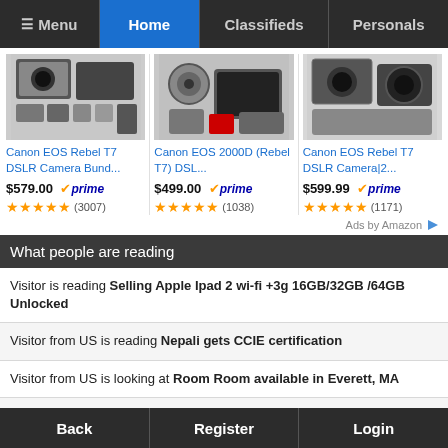Menu | Home | Classifieds | Personals
[Figure (screenshot): Three Canon camera product listings with images, titles, prices, Prime badges, and star ratings]
Ads by Amazon
What people are reading
Visitor is reading Selling Apple Ipad 2 wi-fi +3g 16GB/32GB /64GB Unlocked
Visitor from US is reading Nepali gets CCIE certification
Visitor from US is looking at Room Room available in Everett, MA
Visitor from US is reading Which Wine is good with MOMO? Red
Back | Register | Login